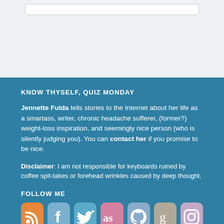KNOW THYSELF, QUIZ MONDAY
Jennette Fulda tells stories to the Internet about her life as a smartass, writer, chronic headache sufferer, (former?) weight-loss inspiration, and seemingly nice person (who is silently judging you). You can contact her if you promise to be nice.
Disclaimer: I am not responsible for keyboards ruined by coffee spit-takes or forehead wrinkles caused by deep thought.
FOLLOW ME
[Figure (infographic): Row of 7 social media icon boxes: RSS (orange), Facebook (light blue), Twitter (blue), Last.fm (pink), GitHub (steel blue), Goodreads (tan), Instagram (mauve)]